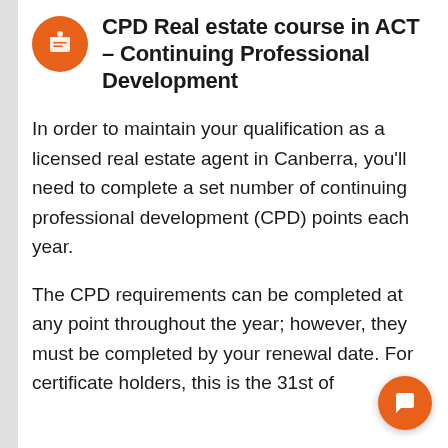CPD Real estate course in ACT – Continuing Professional Development
In order to maintain your qualification as a licensed real estate agent in Canberra, you'll need to complete a set number of continuing professional development (CPD) points each year.
The CPD requirements can be completed at any point throughout the year; however, they must be completed by your renewal date. For certificate holders, this is the 31st of